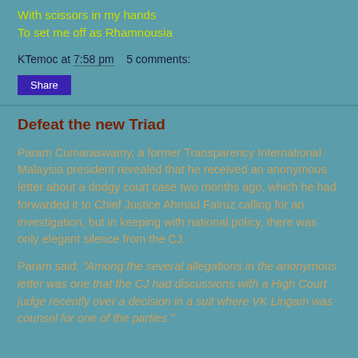With scissors in my hands
To set me off as Rhamnousia
KTemoc at 7:58 pm    5 comments:
Share
Defeat the new Triad
Param Cumaraswamy, a former Transparency International Malaysia president revealed that he received an anonymous letter about a dodgy court case two months ago, which he had forwarded it to Chief Justice Ahmad Fairuz calling for an investigation, but in keeping with national policy, there was only elegant silence from the CJ.
Param said: “Among the several allegations in the anonymous letter was one that the CJ had discussions with a High Court judge recently over a decision in a suit where VK Lingam was counsel for one of the parties.”